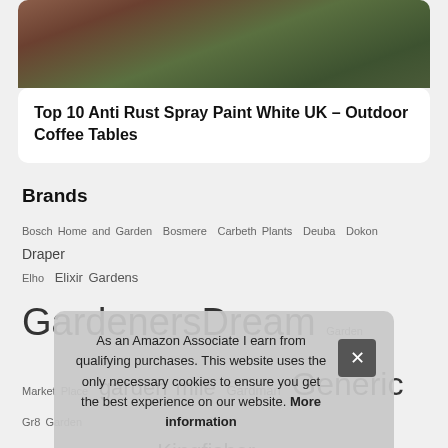[Figure (photo): Photo of outdoor paving stones and a dark rectangular object, possibly a coffee table or planter, on a patio]
Top 10 Anti Rust Spray Paint White UK – Outdoor Coffee Tables
Brands
Bosch Home and Garden Bosmere Carbeth Plants Deuba Dokon Draper Elho Elixir Gardens GardenersDream Garden Market Place garden mile Gardman Generic Gr8 Garden Hozelock Ltd Keter Kingfisher Kärcher LA JOLIE MUSE Mais... The... Sele... Inter... Morgan Mrd unknown VidaXL vonHaus Westland
As an Amazon Associate I earn from qualifying purchases. This website uses the only necessary cookies to ensure you get the best experience on our website. More information